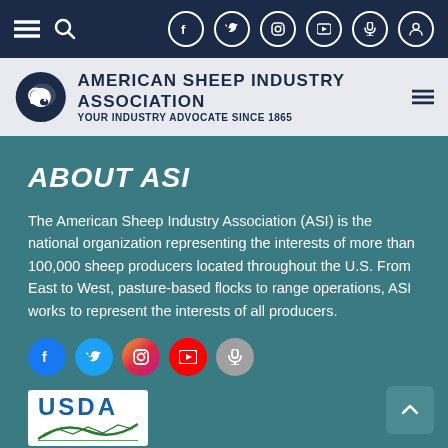Navigation bar with menu, search, Facebook, Twitter, Instagram, YouTube, podcast, and user icons
[Figure (logo): American Sheep Industry Association logo with spiral sheep icon, organization name, and tagline 'YOUR INDUSTRY ADVOCATE SINCE 1865']
ABOUT ASI
The American Sheep Industry Association (ASI) is the national organization representing the interests of more than 100,000 sheep producers located throughout the U.S. From East to West, pasture-based flocks to range operations, ASI works to represent the interests of all producers.
[Figure (infographic): Social media icons row: Facebook (blue), Twitter (light blue), Instagram (gradient), YouTube (red), podcast (gray)]
[Figure (logo): USDA logo with text and stylized landscape lines in green]
[Figure (logo): LET'S GROW banner in brown/orange]